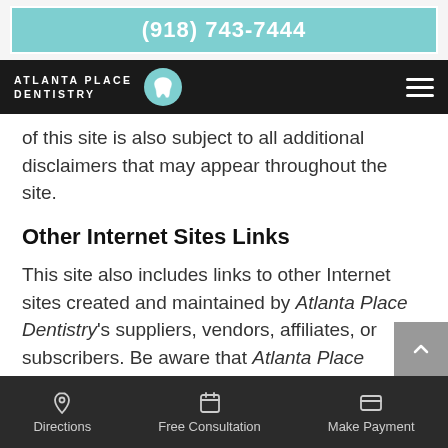(918) 743-7444
[Figure (logo): Atlanta Place Dentistry logo with tooth icon on black navigation bar]
of this site is also subject to all additional disclaimers that may appear throughout the site.
Other Internet Sites Links
This site also includes links to other Internet sites created and maintained by Atlanta Place Dentistry's suppliers, vendors, affiliates, or subscribers. Be aware that Atlanta Place Dentistry does
Directions  Free Consultation  Make Payment